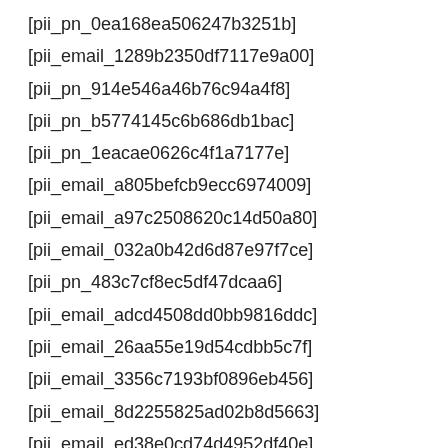[pii_pn_0ea168ea506247b3251b]
[pii_email_1289b2350df7117e9a00]
[pii_pn_914e546a46b76c94a4f8]
[pii_pn_b5774145c6b686db1bac]
[pii_pn_1eacae0626c4f1a7177e]
[pii_email_a805befcb9ecc6974009]
[pii_email_a97c2508620c14d50a80]
[pii_email_032a0b42d6d87e97f7ce]
[pii_pn_483c7cf8ec5df47dcaa6]
[pii_email_adcd4508dd0bb9816ddc]
[pii_email_26aa55e19d54cdbb5c7f]
[pii_email_3356c7193bf0896eb456]
[pii_email_8d2255825ad02b8d5663]
[pii_email_ed38e0cd74d4952df40e]
[pii_pn_4f29b394fc966de4f258]
[pii_pn_0ef060fe7f616f747193]